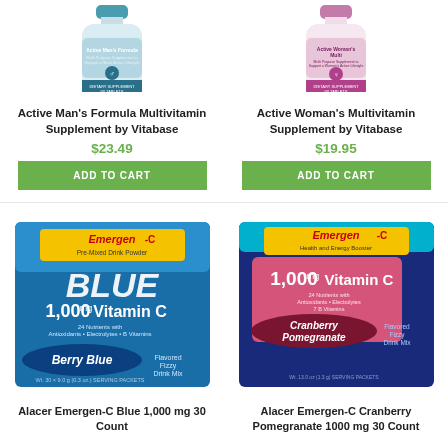[Figure (photo): Active Man's Formula Multivitamin bottle by Vitabase, blue cap]
[Figure (photo): Active Woman's Multi Multivitamin bottle by Vitabase, pink cap]
Active Man's Formula Multivitamin Supplement by Vitabase
Active Woman's Multivitamin Supplement by Vitabase
$23.49
$19.95
ADD TO CART
ADD TO CART
[Figure (photo): Alacer Emergen-C Blue Berry Blue 1,000 mg Vitamin C box, 30 count]
[Figure (photo): Alacer Emergen-C Cranberry Pomegranate 1000 mg Vitamin C box, 30 count]
Alacer Emergen-C Blue 1,000 mg 30 Count
Alacer Emergen-C Cranberry Pomegranate 1000 mg 30 Count